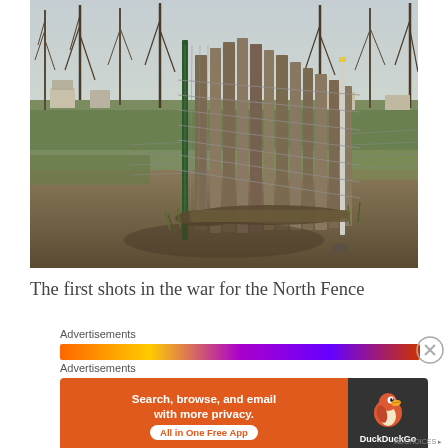[Figure (photo): Outdoor photograph of a dilapidated wooden picket fence with wire mesh attached, set in a rural yard with bare trees, green grass patches, and brown dirt ground. A fallen log lies at the base of the fence.]
The first shots in the war for the North Fence
Advertisements
Advertisements
[Figure (screenshot): DuckDuckGo advertisement banner: orange left panel with text 'Search, browse, and email with more privacy. All in One Free App' and a dark right panel with DuckDuckGo duck logo and brand name.]
ADCHOICES ▸